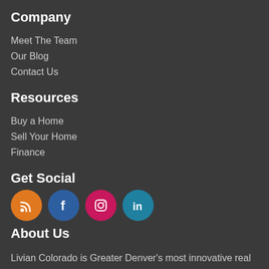Company
Meet The Team
Our Blog
Contact Us
Resources
Buy a Home
Sell Your Home
Finance
Get Social
[Figure (infographic): Four social media icon circles: RSS (orange), Facebook (blue), Instagram (pink/magenta), LinkedIn (teal/blue)]
About Us
Livian Colorado is Greater Denver's most innovative real estate team.